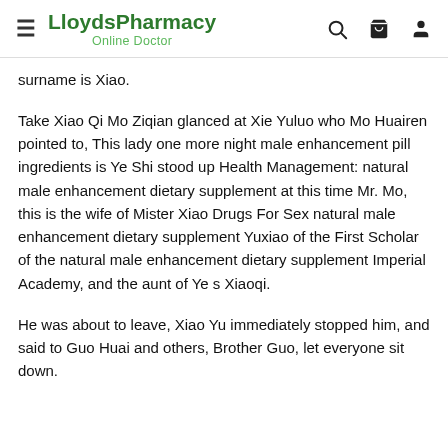LloydsPharmacy Online Doctor
surname is Xiao.
Take Xiao Qi Mo Ziqian glanced at Xie Yuluo who Mo Huairen pointed to, This lady one more night male enhancement pill ingredients is Ye Shi stood up Health Management: natural male enhancement dietary supplement at this time Mr. Mo, this is the wife of Mister Xiao Drugs For Sex natural male enhancement dietary supplement Yuxiao of the First Scholar of the natural male enhancement dietary supplement Imperial Academy, and the aunt of Ye s Xiaoqi.
He was about to leave, Xiao Yu immediately stopped him, and said to Guo Huai and others, Brother Guo, let everyone sit down.